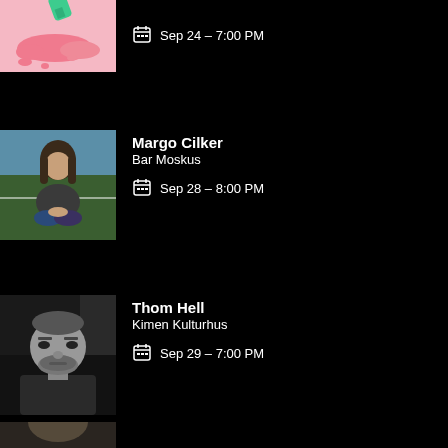[Figure (illustration): Partial view of a pink illustrated spill/paint splash on pink background with a green bottle, cropped at top]
Sep 24 - 7:00 PM
[Figure (photo): Photo of Margo Cilker sitting cross-legged outdoors in front of a blue and green background, wearing a dark jacket]
Margo Cilker
Bar Moskus
Sep 28 - 8:00 PM
[Figure (photo): Black and white photo of Thom Hell, a man with beard and short hair]
Thom Hell
Kimen Kulturhus
Sep 29 - 7:00 PM